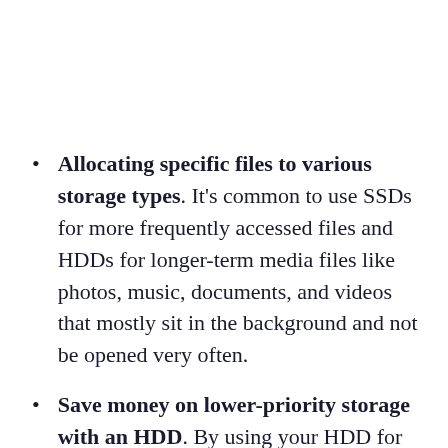Allocating specific files to various storage types. It's common to use SSDs for more frequently accessed files and HDDs for longer-term media files like photos, music, documents, and videos that mostly sit in the background and not be opened very often.
Save money on lower-priority storage with an HDD. By using your HDD for the bulk of your less important files, you'll